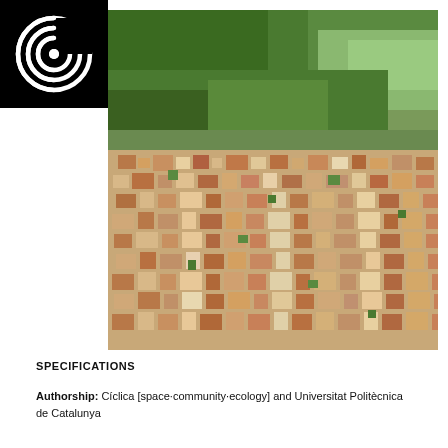[Figure (logo): Circular concentric rings logo in white on black background]
[Figure (photo): Aerial photograph of a dense urban town with terracotta-roofed buildings transitioning to green forested hills and agricultural fields in the background]
SPECIFICATIONS
Authorship: Cíclica [space·community·ecology] and Universitat Politècnica de Catalunya